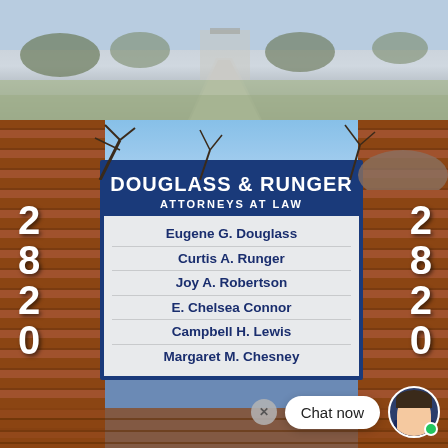[Figure (photo): Top strip: outdoor photo of a road/driveway with trees and overcast sky]
[Figure (photo): Exterior photo of a law firm sign on brick pillars reading Douglass & Runger Attorneys at Law, with attorney names listed: Eugene G. Douglass, Curtis A. Runger, Joy A. Robertson, E. Chelsea Connor, Campbell H. Lewis, Margaret M. Chesney. Brick pillars on left and right display the number 2820. A chat overlay appears at the bottom right with a 'Chat now' bubble and an avatar.]
Chat now